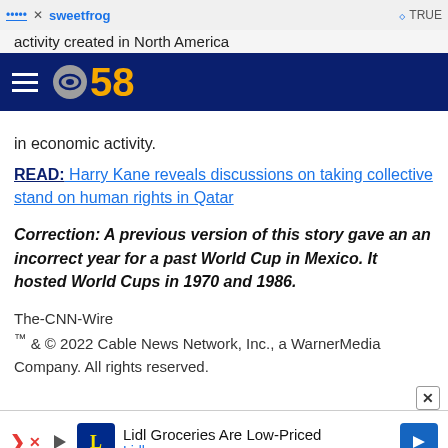activity created in North America
[Figure (logo): CBS 58 news logo with hamburger menu on dark navy blue navigation bar]
in economic activity.
READ: Harry Kane reveals discussions on taking collective stand on human rights in Qatar
Correction: A previous version of this story gave an an incorrect year for a past World Cup in Mexico. It hosted World Cups in 1970 and 1986.
The-CNN-Wire
™ & © 2022 Cable News Network, Inc., a WarnerMedia Company. All rights reserved.
[Figure (screenshot): Lidl Groceries Are Low-Priced advertisement banner at bottom of page]